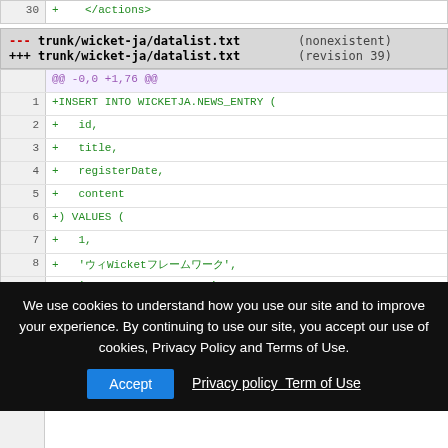30 +    </actions>
--- trunk/wicket-ja/datalist.txt    (nonexistent)
+++ trunk/wicket-ja/datalist.txt    (revision 39)
@@ -0,0 +1,76 @@
1 +INSERT INTO WICKETJA.NEWS_ENTRY (
2 +   id,
3 +   title,
4 +   registerDate,
5 +   content
6 +) VALUES (
7 +   1,
8 +   'ウィWicketフレームワーク',
9 +   '2008-02-17 00:00:00',
We use cookies to understand how you use our site and to improve your experience. By continuing to use our site, you accept our use of cookies, Privacy Policy and Terms of Use.
Accept  Privacy policy  Term of Use